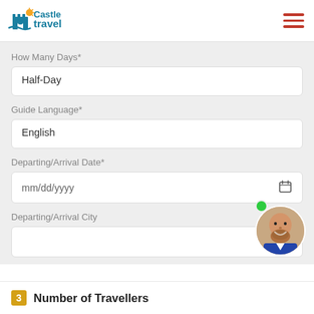[Figure (logo): Castle Travel logo with castle icon and sun graphic]
How Many Days*
Half-Day
Guide Language*
English
Departing/Arrival Date*
mm/dd/yyyy
Departing/Arrival City
[Figure (photo): Smiling bald man with beard, circular avatar with green online indicator dot]
3  Number of Travellers